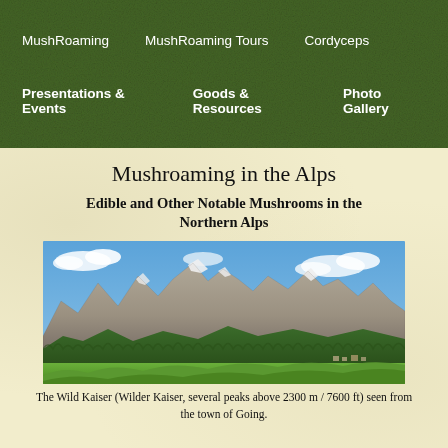MushRoaming   MushRoaming Tours   Cordyceps   Presentations & Events   Goods & Resources   Photo Gallery
Mushroaming in the Alps
Edible and Other Notable Mushrooms in the Northern Alps
[Figure (photo): Panoramic photo of the Wild Kaiser (Wilder Kaiser) mountain range with rocky peaks above the treeline, green forested slopes, and the town of Going in the foreground under a blue sky with clouds.]
The Wild Kaiser (Wilder Kaiser, several peaks above 2300 m / 7600 ft) seen from the town of Going.